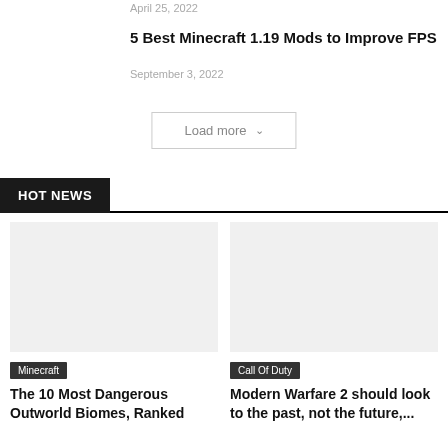April 25, 2022
5 Best Minecraft 1.19 Mods to Improve FPS
September 3, 2022
Load more ˅
HOT NEWS
[Figure (photo): Minecraft article thumbnail image (left card)]
Minecraft
The 10 Most Dangerous Outworld Biomes, Ranked
[Figure (photo): Call Of Duty article thumbnail image (right card)]
Call Of Duty
Modern Warfare 2 should look to the past, not the future,...